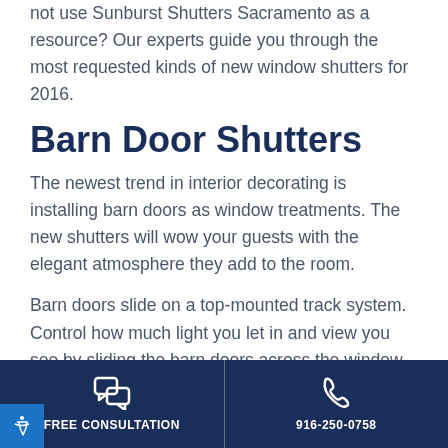not use Sunburst Shutters Sacramento as a resource? Our experts guide you through the most requested kinds of new window shutters for 2016.
Barn Door Shutters
The newest trend in interior decorating is installing barn doors as window treatments. The new shutters will wow your guests with the elegant atmosphere they add to the room.
Barn doors slide on a top-mounted track system. Control how much light you let in and view you see by sliding the barn doors across the window. Your new sliding barn doors look striking when you
FREE CONSULTATION | 916-250-0758